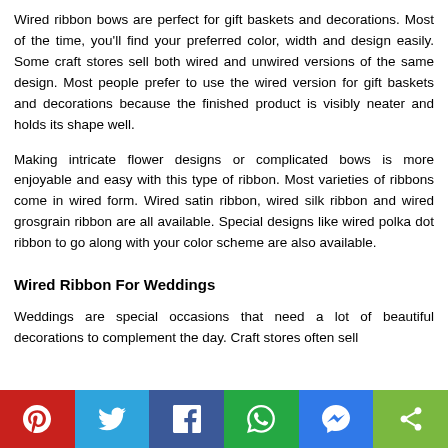Wired ribbon bows are perfect for gift baskets and decorations. Most of the time, you'll find your preferred color, width and design easily. Some craft stores sell both wired and unwired versions of the same design. Most people prefer to use the wired version for gift baskets and decorations because the finished product is visibly neater and holds its shape well.
Making intricate flower designs or complicated bows is more enjoyable and easy with this type of ribbon. Most varieties of ribbons come in wired form. Wired satin ribbon, wired silk ribbon and wired grosgrain ribbon are all available. Special designs like wired polka dot ribbon to go along with your color scheme are also available.
Wired Ribbon For Weddings
Weddings are special occasions that need a lot of beautiful decorations to complement the day. Craft stores often sell
[Figure (infographic): Social share bar with Pinterest (red), Twitter (blue), Facebook (dark blue), WhatsApp (green), Messenger (blue), Share (green) buttons]